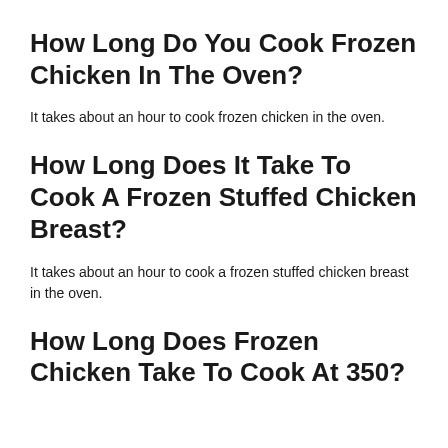How Long Do You Cook Frozen Chicken In The Oven?
It takes about an hour to cook frozen chicken in the oven.
How Long Does It Take To Cook A Frozen Stuffed Chicken Breast?
It takes about an hour to cook a frozen stuffed chicken breast in the oven.
How Long Does Frozen Chicken Take To Cook At 350?